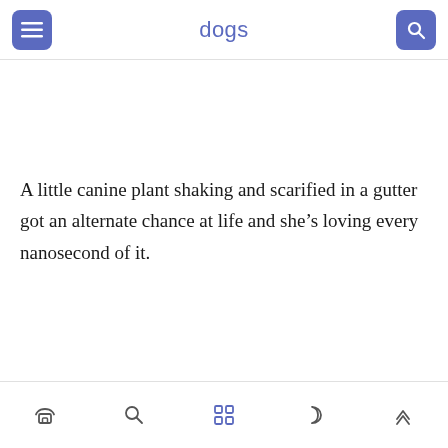dogs
A little canine plant shaking and scarified in a gutter got an alternate chance at life and she’s loving every nanosecond of it.
Navigation bar with home, search, grid, moon, and up-arrow icons